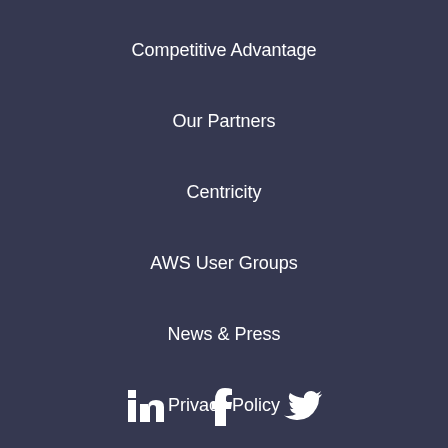Competitive Advantage
Our Partners
Centricity
AWS User Groups
News & Press
Privacy Policy
[Figure (illustration): Social media icons: LinkedIn, Facebook, Twitter in white on dark background]